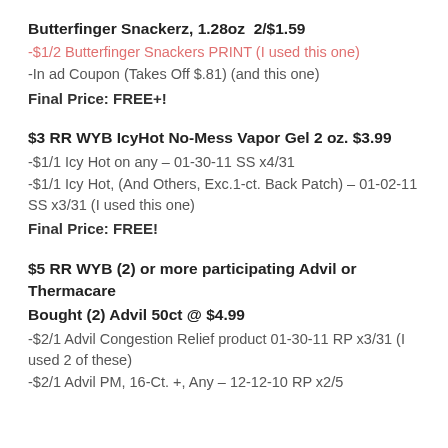Butterfinger Snackerz, 1.28oz  2/$1.59
-$1/2 Butterfinger Snackers PRINT (I used this one)
-In ad Coupon (Takes Off $.81) (and this one)
Final Price: FREE+!
$3 RR WYB IcyHot No-Mess Vapor Gel 2 oz. $3.99
-$1/1 Icy Hot on any – 01-30-11 SS x4/31
-$1/1 Icy Hot, (And Others, Exc.1-ct. Back Patch) – 01-02-11 SS x3/31 (I used this one)
Final Price: FREE!
$5 RR WYB (2) or more participating Advil or Thermacare
Bought (2) Advil 50ct @ $4.99
-$2/1 Advil Congestion Relief product 01-30-11 RP x3/31 (I used 2 of these)
-$2/1 Advil PM, 16-Ct. +, Any – 12-12-10 RP x2/5